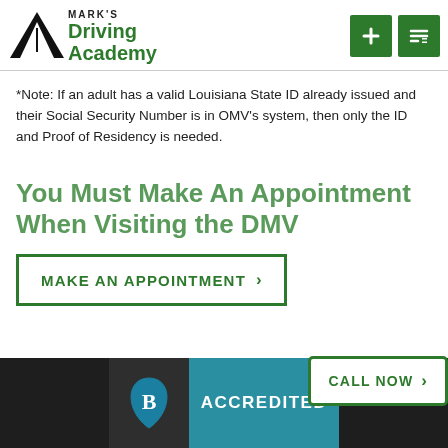[Figure (logo): Mark's Driving Academy logo with black road/mountain graphic and green text]
*Note: If an adult has a valid Louisiana State ID already issued and their Social Security Number is in OMV's system, then only the ID and Proof of Residency is needed.
You Must Make An Appointment When Visiting the DMV
MAKE AN APPOINTMENT >
CALL NOW >
ACCREDITED